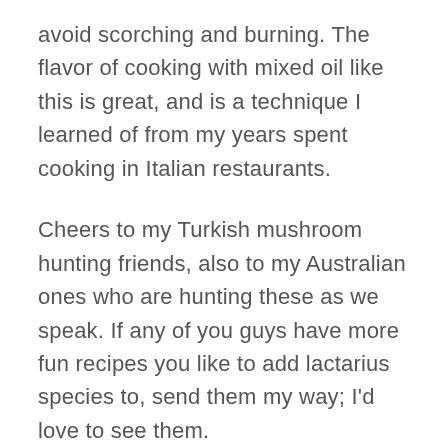avoid scorching and burning. The flavor of cooking with mixed oil like this is great, and is a technique I learned of from my years spent cooking in Italian restaurants.
Cheers to my Turkish mushroom hunting friends, also to my Australian ones who are hunting these as we speak. If any of you guys have more fun recipes you like to add lactarius species to, send them my way; I'd love to see them.